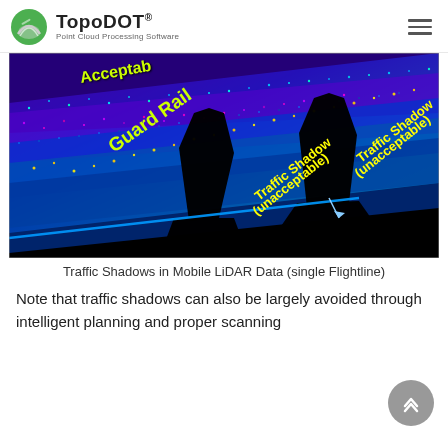TopoDOT® Point Cloud Processing Software
[Figure (photo): LiDAR point cloud visualization showing a road scene with labeled regions: 'Acceptable' area (top left), 'Guard Rail' (diagonal label in center-left), and two 'Traffic Shadow (unacceptable)' regions shown as dark shadow areas beneath vehicles. The point cloud is rendered in blue/purple/yellow colors on black background with a blue diagonal line across the lower portion.]
Traffic Shadows in Mobile LiDAR Data (single Flightline)
Note that traffic shadows can also be largely avoided through intelligent planning and proper scanning